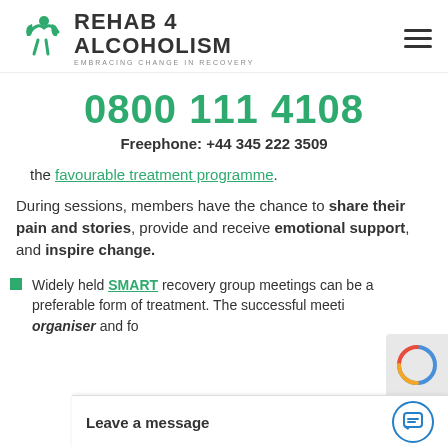[Figure (logo): Rehab 4 Alcoholism logo with green leaf/figure icon and text 'REHAB 4 ALCOHOLISM - EMBRACING CHANGE IN RECOVERY']
0800 111 4108
Freephone: +44 345 222 3509
the favourable treatment programme.
During sessions, members have the chance to share their pain and stories, provide and receive emotional support, and inspire change.
Widely held SMART recovery group meetings can be a preferable form of treatment. The successful meeti... organiser and fo...